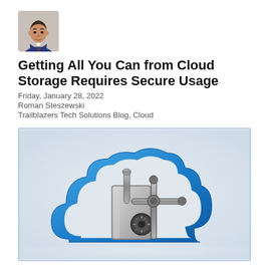[Figure (photo): Headshot photo of a man in a blue suit jacket, author avatar]
Getting All You Can from Cloud Storage Requires Secure Usage
Friday, January 28, 2022
Roman Steszewski
Trailblazers Tech Solutions Blog, Cloud
[Figure (illustration): 3D illustration of a blue cloud shape with a combination safe lock mechanism in the center, representing secure cloud storage]